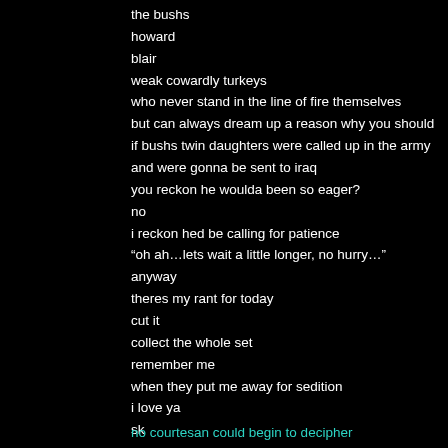the bushs
howard
blair
weak cowardly turkeys
who never stand in the line of fire themselves
but can always dream up a reason why you should
if bushs twin daughters were called up in the army
and were gonna be sent to iraq
you reckon he woulda been so eager?
no
i reckon hed be calling for patience
“oh ah…lets wait a little longer, no hurry…”
anyway
theres my rant for today
cut it
collect the whole set
remember me
when they put me away for sedition
i love ya
sk
no courtesan could begin to decipher